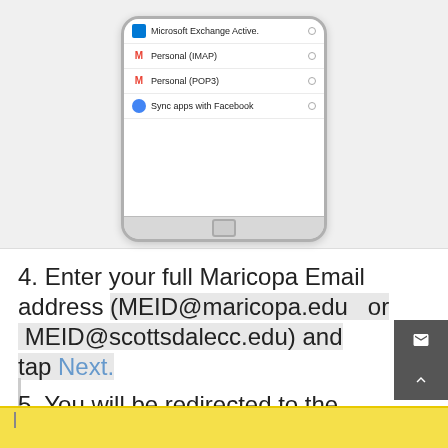[Figure (screenshot): Screenshot of a mobile phone showing an account selection screen with options: Microsoft Exchange Active., Personal (IMAP), Personal (POP3), Sync apps with Facebook]
4. Enter your full Maricopa Email address (MEID@maricopa.edu  or  MEID@scottsdalecc.edu) and tap Next.
5. You will be redirected to the Maricopa login page for verification. Enter you MEID (only) and password and login.
[Figure (screenshot): Bottom partial view of MCSCD Student Email page]